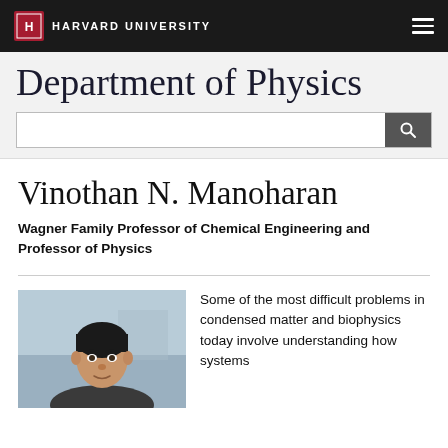HARVARD UNIVERSITY
Department of Physics
Vinothan N. Manoharan
Wagner Family Professor of Chemical Engineering and Professor of Physics
[Figure (photo): Headshot photo of Vinothan N. Manoharan, a man with dark hair, photographed outdoors with a blurred background]
Some of the most difficult problems in condensed matter and biophysics today involve understanding how systems